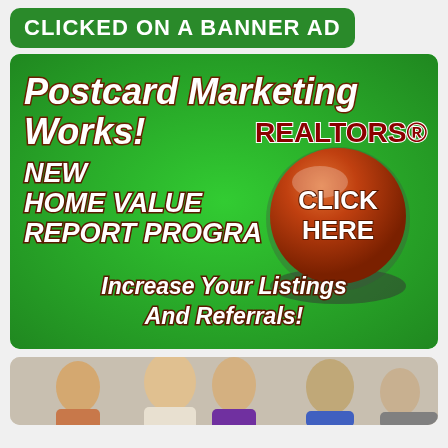CLICKED ON A BANNER AD
[Figure (illustration): Green banner advertisement for Postcard Marketing featuring text: 'Postcard Marketing Works! REALTORS® NEW HOME VALUE REPORT PROGRAM CLICK HERE Increase Your Listings And Referrals!' with a large brown 3D button.]
[Figure (photo): Photo strip showing multiple people, partially visible at the bottom of the page.]